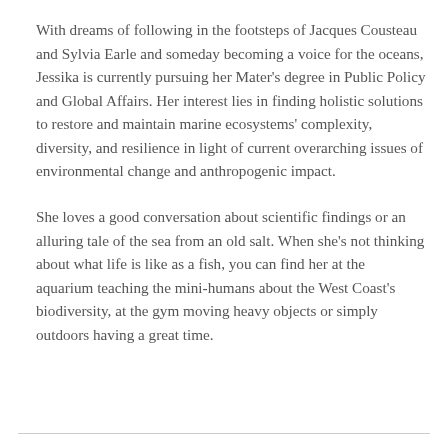With dreams of following in the footsteps of Jacques Cousteau and Sylvia Earle and someday becoming a voice for the oceans, Jessika is currently pursuing her Mater's degree in Public Policy and Global Affairs. Her interest lies in finding holistic solutions to restore and maintain marine ecosystems' complexity, diversity, and resilience in light of current overarching issues of environmental change and anthropogenic impact.
She loves a good conversation about scientific findings or an alluring tale of the sea from an old salt. When she's not thinking about what life is like as a fish, you can find her at the aquarium teaching the mini-humans about the West Coast's biodiversity, at the gym moving heavy objects or simply outdoors having a great time.